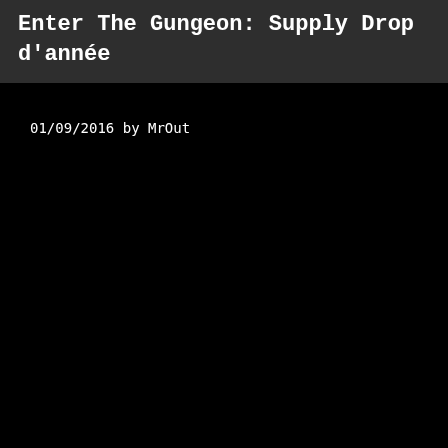Enter The Gungeon: Supply Drop d'année
01/09/2016 by MrOut